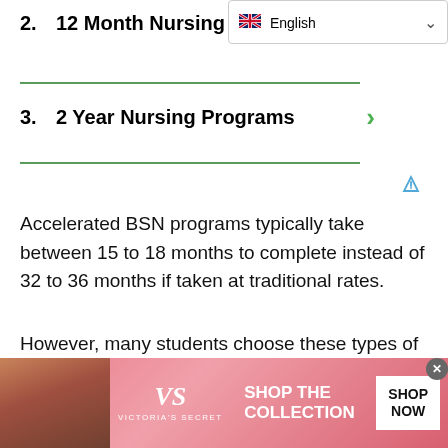2. 12 Month Nursing Programs
3. 2 Year Nursing Programs
Accelerated BSN programs typically take between 15 to 18 months to complete instead of 32 to 36 months if taken at traditional rates.
However, many students choose these types of programs so they can begin working as registered nurses sooner rather than later.
[Figure (screenshot): Victoria's Secret advertisement banner with a woman, VS logo, 'SHOP THE COLLECTION' text, and 'SHOP NOW' button]